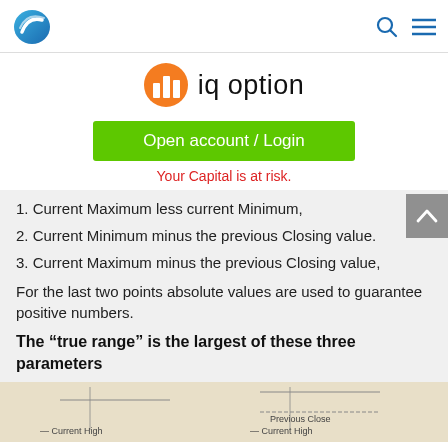IQ Option navigation header with logo and menu icons
[Figure (logo): IQ Option logo with orange chart icon and dark text 'iq option']
Open account / Login
Your Capital is at risk.
1. Current Maximum less current Minimum,
2. Current Minimum minus the previous Closing value.
3. Current Maximum minus the previous Closing value,
For the last two points absolute values are used to guarantee positive numbers.
The “true range” is the largest of these three parameters
[Figure (illustration): Chart diagram showing Current High and Previous Close labels at the bottom edge of the page]